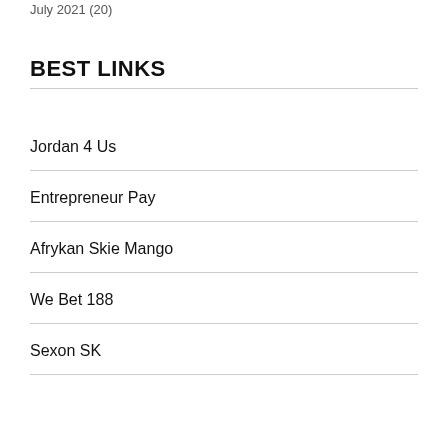July 2021 (20)
BEST LINKS
Jordan 4 Us
Entrepreneur Pay
Afrykan Skie Mango
We Bet 188
Sexon SK